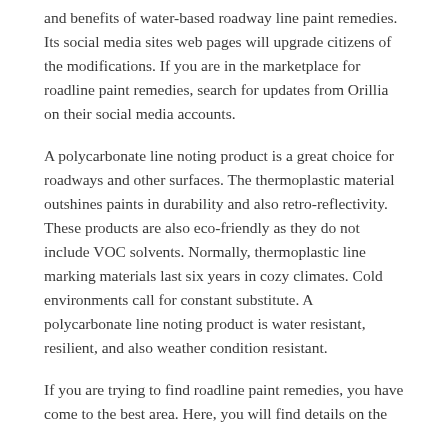and benefits of water-based roadway line paint remedies. Its social media sites web pages will upgrade citizens of the modifications. If you are in the marketplace for roadline paint remedies, search for updates from Orillia on their social media accounts.
A polycarbonate line noting product is a great choice for roadways and other surfaces. The thermoplastic material outshines paints in durability and also retro-reflectivity. These products are also eco-friendly as they do not include VOC solvents. Normally, thermoplastic line marking materials last six years in cozy climates. Cold environments call for constant substitute. A polycarbonate line noting product is water resistant, resilient, and also weather condition resistant.
If you are trying to find roadline paint remedies, you have come to the best area. Here, you will find details on the